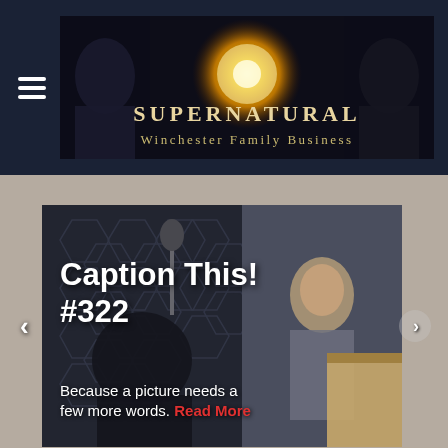[Figure (logo): Supernatural Winchester Family Business website header banner with golden starburst logo, two characters on either side, dark background]
Caption This! #322
Because a picture needs a few more words. Read More